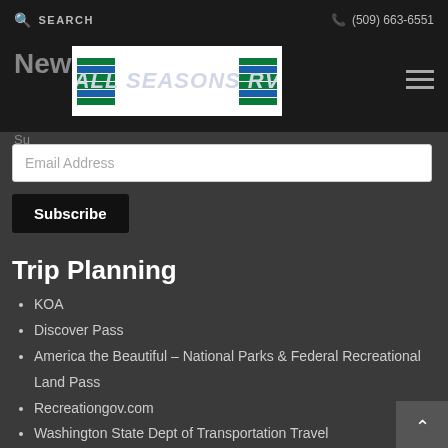SEARCH  (509) 663-6551
Newsletter
[Figure (logo): All Seasons RV logo with blue and green horizontal stripes and white italic text]
Su...
Email Address
Subscribe
Trip Planning
KOA
Discover Pass
America the Beautiful – National Parks & Federal Recreational Land Pass
Recreationgov.com
Washington State Dept of Transportation Travel